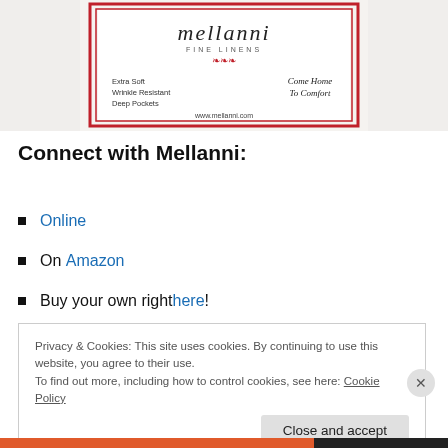[Figure (photo): Mellanni Fine Linens product packaging label showing brand name, 'Extra Soft', 'Wrinkle Resistant', 'Deep Pockets', 'Come Home To Comfort', and www.mellanni.com]
Connect with Mellanni:
Online
On Amazon
Buy your own right here!
Privacy & Cookies: This site uses cookies. By continuing to use this website, you agree to their use.
To find out more, including how to control cookies, see here: Cookie Policy
Close and accept